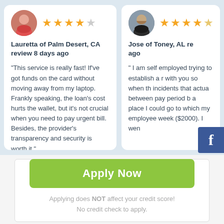Lauretta of Palm Desert, CA review 8 days ago
“This service is really fast! If’ve got funds on the card without moving away from my laptop. Frankly speaking, the loan’s cost hurts the wallet, but it’s not crucial when you need to pay urgent bill. Besides, the provider’s transparency and security is worth it.”
Jose of Toney, AL re... ago
“ I am self employed trying to establish a relationship with you so when there are incidents that actually happen between pay period I would have a place I could go to... which my employees... week ($2000). I wen...
Apply Now
Applying does NOT affect your credit score!
No credit check to apply.